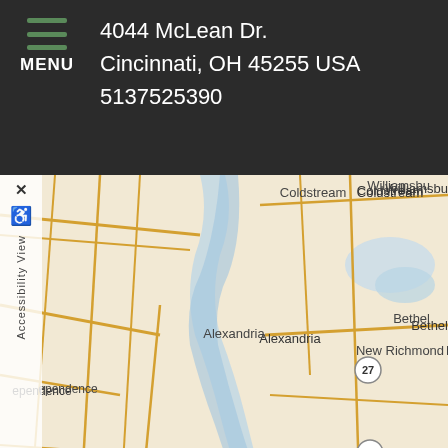MENU  4044 McLean Dr. Cincinnati, OH 45255 USA 5137525390
[Figure (map): Street map showing area around Cincinnati, OH including landmarks: Coldstream, Amelia, Williamsbu(rg), Alexandria, New Richmond, Bethel, ependence (Independence). Ohio River visible. Route 27 marked. Map data from Leaflet / Internet Brands.]
Leaflet | Map data provided by Internet Brands
Office Hours
Find Out When We Are Open
| Day | Hours |
| --- | --- |
| Monday: | 9 am - Noon |